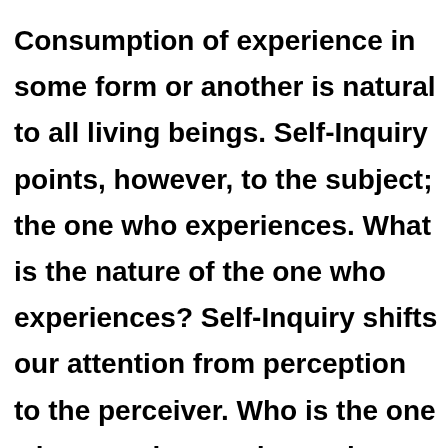Consumption of experience in some form or another is natural to all living beings. Self-Inquiry points, however, to the subject; the one who experiences. What is the nature of the one who experiences? Self-Inquiry shifts our attention from perception to the perceiver. Who is the one who perceives and experiences reality?